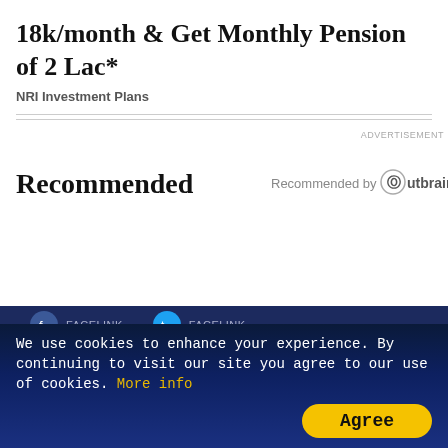18k/month & Get Monthly Pension of 2 Lac*
NRI Investment Plans
ADVERTISEMENT
Recommended
[Figure (logo): Recommended by Outbrain logo]
We use cookies to enhance your experience. By continuing to visit our site you agree to our use of cookies. More info Agree